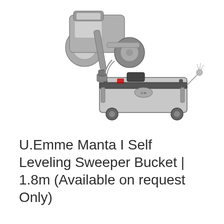[Figure (photo): Black and white photograph of a U.Emme Manta I Self Leveling Sweeper Bucket attachment (1.8m) mounted on a wheeled loader/forklift vehicle. The sweeper bucket is a large metallic broom/collector unit shown attached to the front of a heavy machine.]
U.Emme Manta I Self Leveling Sweeper Bucket | 1.8m (Available on request Only)